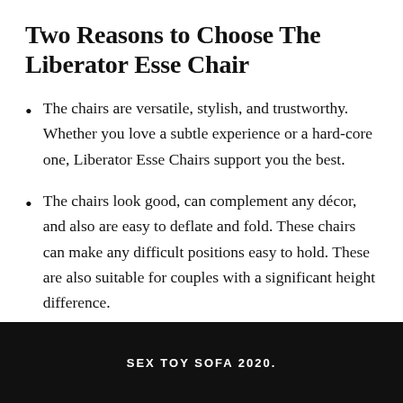Two Reasons to Choose The Liberator Esse Chair
The chairs are versatile, stylish, and trustworthy. Whether you love a subtle experience or a hard-core one, Liberator Esse Chairs support you the best.
The chairs look good, can complement any décor, and also are easy to deflate and fold. These chairs can make any difficult positions easy to hold. These are also suitable for couples with a significant height difference.
SEX TOY SOFA 2020.